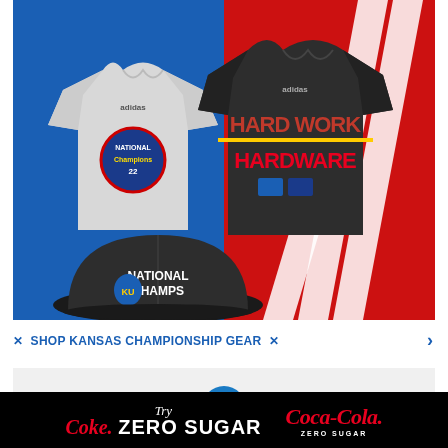[Figure (photo): Kansas National Champions merchandise display showing a gray adidas t-shirt with National Champions logo, a dark gray adidas t-shirt reading HARD WORK HARDWARE, and a dark snapback hat reading NATIONAL CHAMPS with Jayhawk logo, displayed on a blue and red background]
✕ SHOP KANSAS CHAMPIONSHIP GEAR ✕ ›
[Figure (photo): Light gray banner with partially visible blue circle at bottom center]
[Figure (other): Coca-Cola advertisement on black background: Try Coke ZERO SUGAR with Coca-Cola Zero Sugar logo]